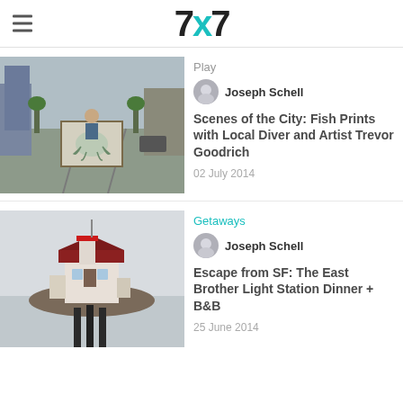7x7
Play
Joseph Schell
Scenes of the City: Fish Prints with Local Diver and Artist Trevor Goodrich
02 July 2014
[Figure (photo): Street scene with a person holding a large framed print of an octopus on a San Francisco street with tram tracks]
Getaways
Joseph Schell
Escape from SF: The East Brother Light Station Dinner + B&B
25 June 2014
[Figure (photo): Lighthouse on a small rocky island with dock pilings in the foreground, misty water scene]